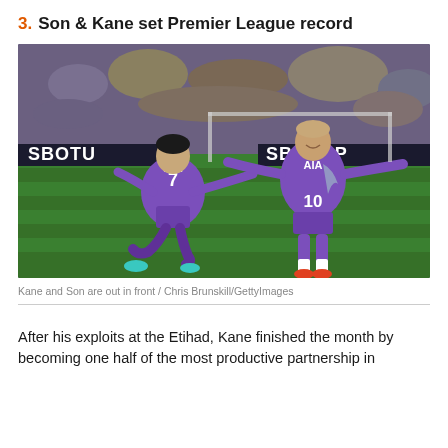3. Son & Kane set Premier League record
[Figure (photo): Son (number 7) kneeling on the pitch in purple Tottenham kit with arm outstretched, and Kane (number 10) standing with arms spread wide in purple Tottenham AIA kit celebrating on a football pitch. SBOTOP advertising boards visible in the background along with a crowd of spectators.]
Kane and Son are out in front / Chris Brunskill/GettyImages
After his exploits at the Etihad, Kane finished the month by becoming one half of the most productive partnership in